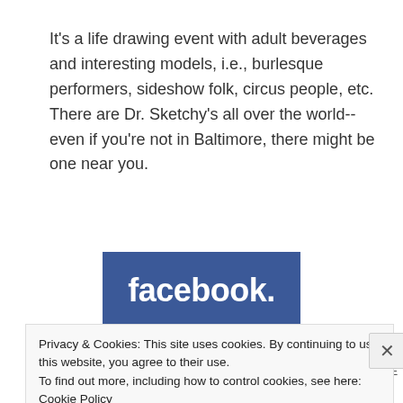It's a life drawing event with adult beverages and interesting models, i.e., burlesque performers, sideshow folk, circus people, etc. There are Dr. Sketchy's all over the world--even if you're not in Baltimore, there might be one near you.
[Figure (logo): Facebook logo: blue rectangle with white bold text 'facebook.']
WHERE IS DR. SKETCHY'S – BALTIMORE
Privacy & Cookies: This site uses cookies. By continuing to use this website, you agree to their use.
To find out more, including how to control cookies, see here: Cookie Policy
Close and accept